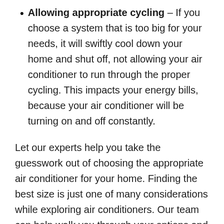Allowing appropriate cycling – If you choose a system that is too big for your needs, it will swiftly cool down your home and shut off, not allowing your air conditioner to run through the proper cycling. This impacts your energy bills, because your air conditioner will be turning on and off constantly.
Let our experts help you take the guesswork out of choosing the appropriate air conditioner for your home. Finding the best size is just one of many considerations while exploring air conditioners. Our team can help walk you through your options and evaluate your home and space to provide guidance into what will be the best